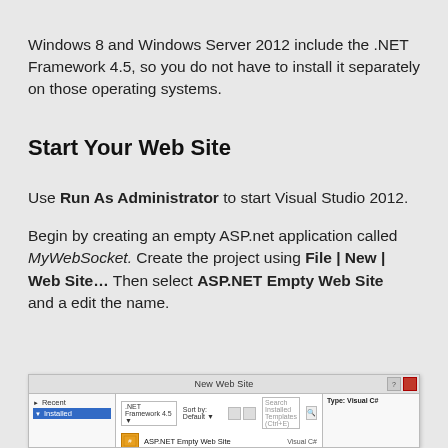Windows 8 and Windows Server 2012 include the .NET Framework 4.5, so you do not have to install it separately on those operating systems.
Start Your Web Site
Use Run As Administrator to start Visual Studio 2012.
Begin by creating an empty ASP.net application called MyWebSocket. Create the project using File | New | Web Site... Then select ASP.NET Empty Web Site and a edit the name.
[Figure (screenshot): New Web Site dialog in Visual Studio 2012 showing .NET Framework 4.5 dropdown, Sort by Default, Search Installed Templates field, with ASP.NET Empty Web Site selected under Installed templates, Visual C# type.]